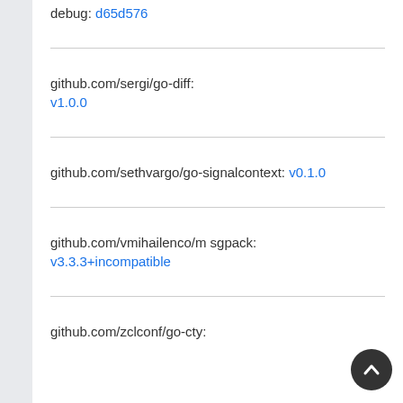debug: d65d576
github.com/sergi/go-diff: v1.0.0
github.com/sethvargo/go-signalcontext: v0.1.0
github.com/vmihailenco/msgpack: v3.3.3+incompatible
github.com/zclconf/go-cty: